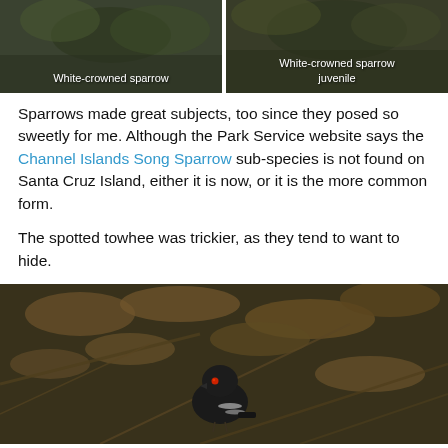[Figure (photo): White-crowned sparrow perched among dark green foliage, with white label text overlay at bottom center]
[Figure (photo): White-crowned sparrow juvenile perched among dark foliage, with white label text overlay at bottom center]
Sparrows made great subjects, too since they posed so sweetly for me. Although the Park Service website says the Channel Islands Song Sparrow sub-species is not found on Santa Cruz Island, either it is now, or it is the more common form.
The spotted towhee was trickier, as they tend to want to hide.
[Figure (photo): A spotted towhee bird with red eye, dark plumage with white markings, perched among brown dried leaves and twigs]